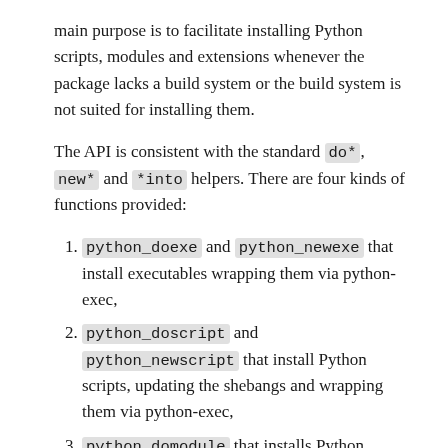main purpose is to facilitate installing Python scripts, modules and extensions whenever the package lacks a build system or the build system is not suited for installing them.
The API is consistent with the standard do*, new* and *into helpers. There are four kinds of functions provided:
python_doexe and python_newexe that install executables wrapping them via python-exec,
python_doscript and python_newscript that install Python scripts, updating the shebangs and wrapping them via python-exec,
python_domodule that installs Python modules, or recursively installs packages (directories),
python_doheader that installs header files to Python-specific include directory.
The install path for executables and scripts (1. and 2.)